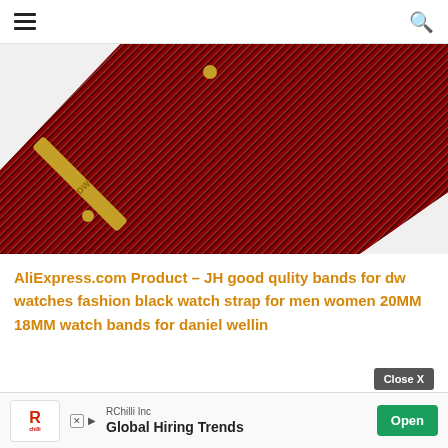Navigation header with hamburger menu and search icon
[Figure (photo): Close-up photo of a red/dark striped nylon NATO watch strap (Daniel Wellington style) with a gold metal clasp and DW branding, shown at an angle on a white background]
AliExpress.com Product – JH good qulity bands for dw watches fashion black watch strap for men women 20MM 18MM watch bands for daniel wellin
Close X
RChilli Inc
Global Hiring Trends
Open